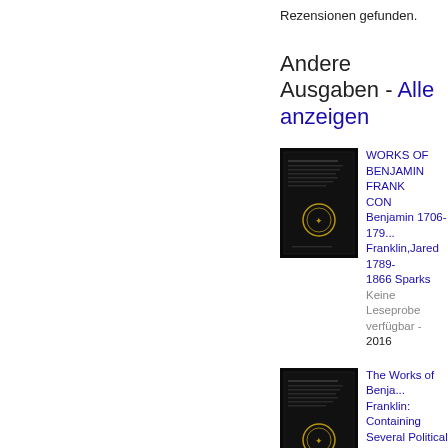Rezensionen gefunden.
Andere Ausgaben - Alle anzeigen
[Figure (illustration): Book cover thumbnail for WORKS OF BENJAMIN FRANKLIN CON, dark/black cover with gold emblem]
WORKS OF BENJAMIN FRANKLIN CON
Benjamin 1706-1790 Franklin,Jared 1789-1866 Sparks
Keine Leseprobe verfügbar - 2016
[Figure (illustration): Book cover thumbnail for The Works of Benjamin Franklin: Containing Several Political and Historical ..., dark/black cover with gold emblem]
The Works of Benjamin Franklin: Containing Several Political and Historical ...
Benjamin Franklin
Keine Leseprobe verfügbar - 2015
[Figure (illustration): Book cover thumbnail for WORKS OF ... (partially visible at bottom)]
WORKS OF